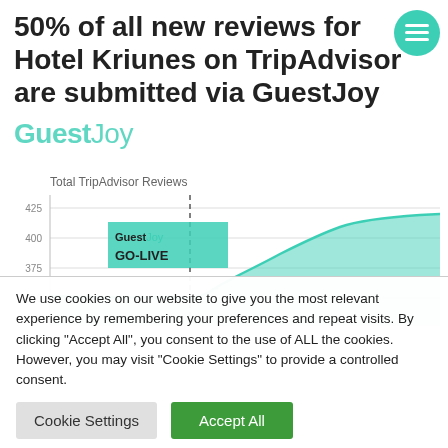50% of all new reviews for Hotel Kriunes on TripAdvisor are submitted via GuestJoy
[Figure (area-chart): Area chart showing review growth after GuestJoy GO-LIVE, with y-axis from 350 to 425 and a vertical dashed line marking GuestJoy GO-LIVE event, after which the curve rises steeply to around 415+]
We use cookies on our website to give you the most relevant experience by remembering your preferences and repeat visits. By clicking "Accept All", you consent to the use of ALL the cookies. However, you may visit "Cookie Settings" to provide a controlled consent.
Cookie Settings
Accept All